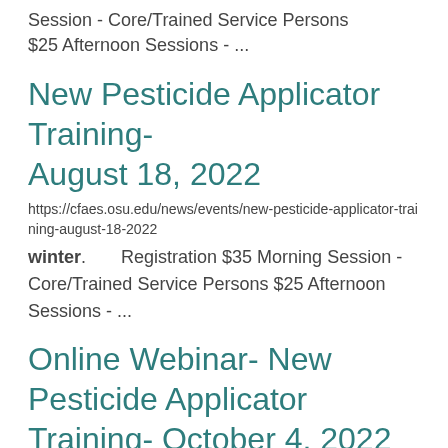Session  - Core/Trained Service Persons $25 Afternoon Sessions  - ...
New Pesticide Applicator Training- August 18, 2022
https://cfaes.osu.edu/news/events/new-pesticide-applicator-training-august-18-2022
winter.       Registration $35 Morning Session  - Core/Trained Service Persons $25 Afternoon Sessions  - ...
Online Webinar- New Pesticide Applicator Training- October 4, 2022
https://cfaes.osu.edu/news/events/online-webinar-